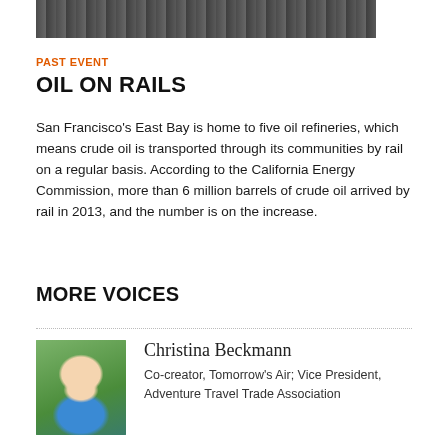[Figure (photo): Partial photo strip showing a crowd or group of people outdoors, cropped at top of page]
PAST EVENT
OIL ON RAILS
San Francisco's East Bay is home to five oil refineries, which means crude oil is transported through its communities by rail on a regular basis. According to the California Energy Commission, more than 6 million barrels of crude oil arrived by rail in 2013, and the number is on the increase.
MORE VOICES
[Figure (photo): Headshot photo of Christina Beckmann, a woman with blonde hair wearing a blue top, smiling outdoors]
Christina Beckmann
Co-creator, Tomorrow's Air; Vice President, Adventure Travel Trade Association